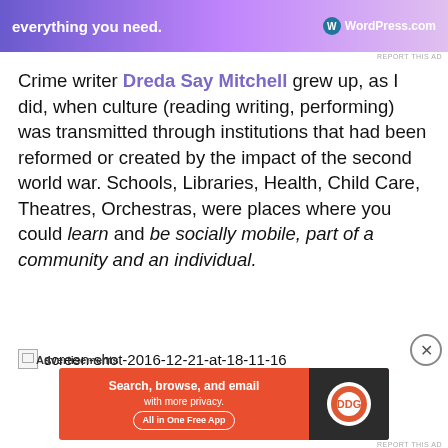[Figure (screenshot): WordPress.com advertisement banner at top with purple/pink gradient background, text 'everything you need.' and WordPress.com logo]
Crime writer Dreda Say Mitchell grew up, as I did, when culture (reading writing, performing) was transmitted through institutions that had been reformed or created by the impact of the second world war. Schools, Libraries, Health, Child Care, Theatres, Orchestras, were places where you could learn and be socially mobile, part of a community and an individual.
[Figure (screenshot): Broken image placeholder with filename: screen-shot-2016-12-21-at-18-11-16]
[Figure (screenshot): DuckDuckGo advertisement: 'Search, browse, and email with more privacy. All in One Free App' on orange background with DuckDuckGo logo on dark background]